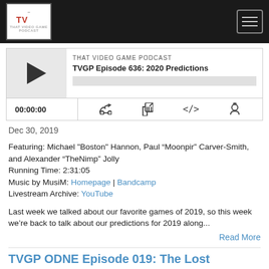TVGP (That Video Game Podcast) navigation bar with logo and hamburger menu
[Figure (screenshot): Podcast player widget showing episode 'TVGP Episode 636: 2020 Predictions' with play button, progress bar, time display 00:00:00, and control icons]
Dec 30, 2019
Featuring: Michael "Boston" Hannon, Paul “Moonpir” Carver-Smith, and Alexander “TheNimp” Jolly
Running Time: 2:31:05
Music by MusiM: Homepage | Bandcamp
Livestream Archive: YouTube
Last week we talked about our favorite games of 2019, so this week we’re back to talk about our predictions for 2019 along...
Read More
TVGP ODNE Episode 019: The Lost